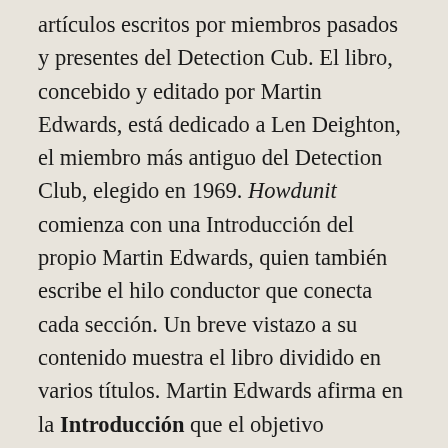artículos escritos por miembros pasados y presentes del Detection Cub. El libro, concebido y editado por Martin Edwards, está dedicado a Len Deighton, el miembro más antiguo del Detection Club, elegido en 1969. Howdunit comienza con una Introducción del propio Martin Edwards, quien también escribe el hilo conductor que conecta cada sección. Un breve vistazo a su contenido muestra el libro dividido en varios títulos. Martin Edwards afirma en la Introducción que el objetivo primordial de este libro es entretener e informar a cualquiera que disfrute de la novela policiaca.
Motivos, intenta dar respuesta a las antiguas preguntas: ¿Cuál es el valor de la novela policiaca? ¿Por qué molestarse en escribirla o